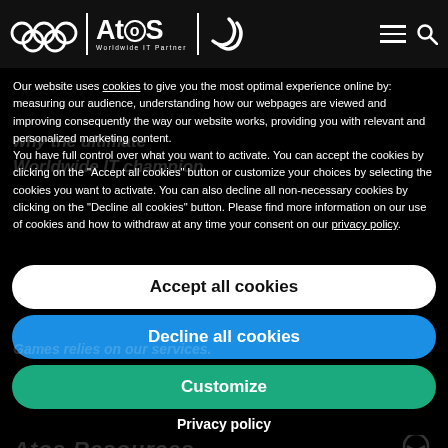Atos - Worldwide IT Partner (Olympic/Paralympic logo header)
Our website uses cookies to give you the most optimal experience online by: measuring our audience, understanding how our webpages are viewed and improving consequently the way our website works, providing you with relevant and personalized marketing content.
You have full control over what you want to activate. You can accept the cookies by clicking on the "Accept all cookies" button or customize your choices by selecting the cookies you want to activate. You can also decline all non-necessary cookies by clicking on the "Decline all cookies" button. Please find more information on our use of cookies and how to withdraw at any time your consent on our privacy policy.
Accept all cookies
Decline all cookies
Customize
Privacy policy